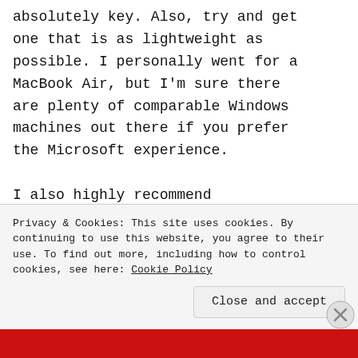absolutely key. Also, try and get one that is as lightweight as possible. I personally went for a MacBook Air, but I'm sure there are plenty of comparable Windows machines out there if you prefer the Microsoft experience.

I also highly recommend purchasing a Kindle or similar e-
Privacy & Cookies: This site uses cookies. By continuing to use this website, you agree to their use. To find out more, including how to control cookies, see here: Cookie Policy

Close and accept